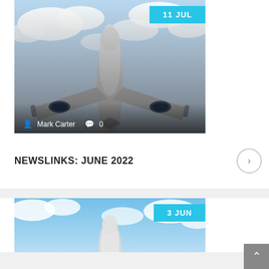[Figure (photo): Airplane viewed from below against cloudy sky, with date badge '11 JUL' in cyan, and author info 'Mark Carter' with comment count '0' at the bottom]
NEWSLINKS: JUNE 2022
[Figure (photo): Airplane viewed from below against blue sky with clouds, with date badge '3 JUN' in cyan]